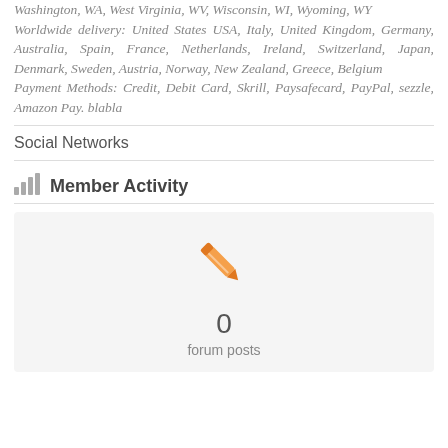Washington, WA, West Virginia, WV, Wisconsin, WI, Wyoming, WY
Worldwide delivery: United States USA, Italy, United Kingdom, Germany, Australia, Spain, France, Netherlands, Ireland, Switzerland, Japan, Denmark, Sweden, Austria, Norway, New Zealand, Greece, Belgium
Payment Methods: Credit, Debit Card, Skrill, Paysafecard, PayPal, sezzle, Amazon Pay. blabla
Social Networks
Member Activity
[Figure (infographic): Orange pencil/edit icon above a '0' count and 'forum posts' label on a light grey background card]